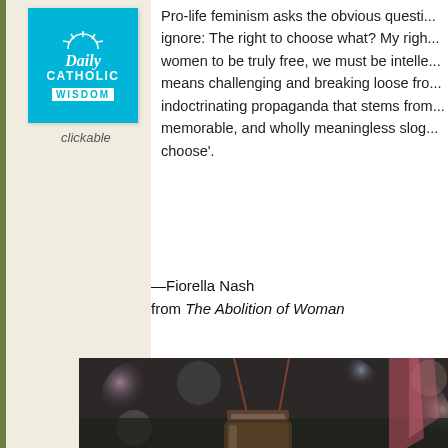[Figure (logo): Daily Catholic Wisdom logo — cyan/turquoise square with sun icon, italic 'Daily' text, 'CATHOLIC' and 'WISDOM' in caps]
clickable
Pro-life feminism asks the obvious question feminists ignore: The right to choose what? My right... women to be truly free, we must be intelle... means challenging and breaking loose fr... indoctrinating propaganda that stems from... memorable, and wholly meaningless slog... choose'.
—Fiorella Nash
from The Abolition of Woman
[Figure (photo): A mason jar with glowing light inside, hanging from brown string/wire against a blurred outdoor bokeh background. Text overlay at bottom reads: 'YOU MIGHT STRUGGLE AND YOU MI...' and 'AND YOU MIGHT HIDE,']